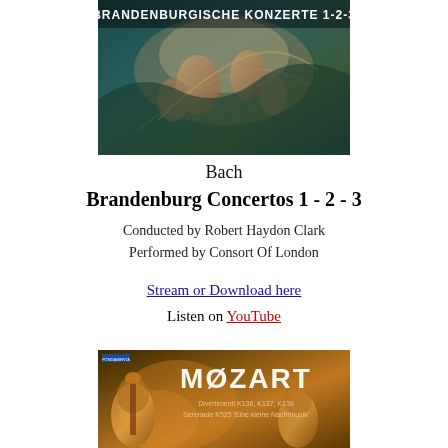[Figure (illustration): Album cover for Bach Brandenburg Concertos 1-2-3, showing a dramatic classical painting of angels/figures with text 'BRANDENBURGISCHE KONZERTE 1-2-3' at top]
Bach
Brandenburg Concertos 1 - 2 - 3
Conducted by Robert Haydon Clark
Performed by Consort Of London
Stream or Download here
Listen on YouTube
[Figure (illustration): Album cover for Mozart Divertimenti K136, K137, K138, Serenade K525 'Eine kleine Nachtmusik', showing violins with warm amber lighting and bold MOZART text]